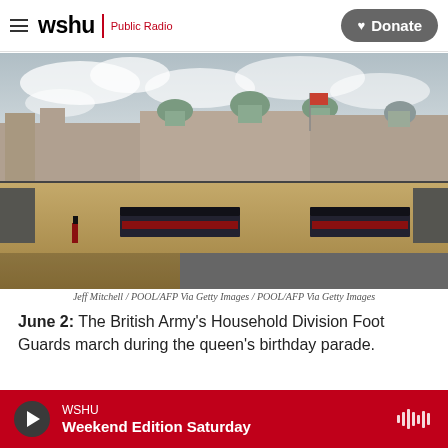wshu Public Radio | Donate
[Figure (photo): British Army Household Division Foot Guards marching in formation at Horse Guards Parade, London. A large sandy parade ground with crowds lining the edges and grand historic buildings in the background under a cloudy sky.]
Jeff Mitchell / POOL/AFP Via Getty Images / POOL/AFP Via Getty Images
June 2: The British Army's Household Division Foot Guards march during the queen's birthday parade.
[Figure (photo): Partial view of a second photo below — colorful image partially visible.]
WSHU Weekend Edition Saturday